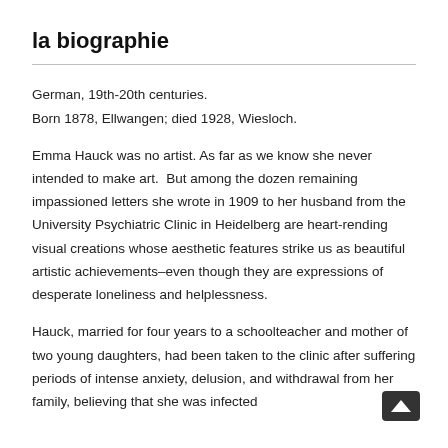la biographie
German, 19th-20th centuries.
Born 1878, Ellwangen; died 1928, Wiesloch.
Emma Hauck was no artist. As far as we know she never intended to make art.  But among the dozen remaining impassioned letters she wrote in 1909 to her husband from the University Psychiatric Clinic in Heidelberg are heart-rending visual creations whose aesthetic features strike us as beautiful artistic achievements–even though they are expressions of desperate loneliness and helplessness.
Hauck, married for four years to a schoolteacher and mother of two young daughters, had been taken to the clinic after suffering periods of intense anxiety, delusion, and withdrawal from her family, believing that she was infected